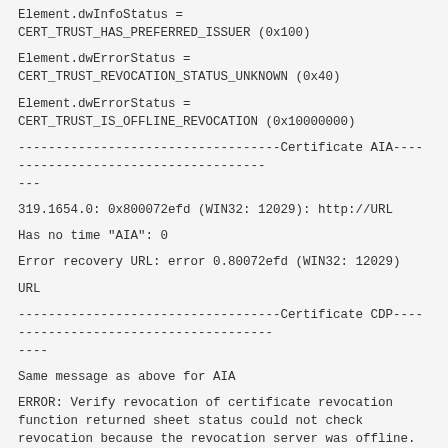Element.dwInfoStatus =
CERT_TRUST_HAS_PREFERRED_ISSUER (0x100)
Element.dwErrorStatus =
CERT_TRUST_REVOCATION_STATUS_UNKNOWN (0x40)
Element.dwErrorStatus =
CERT_TRUST_IS_OFFLINE_REVOCATION (0x10000000)
-----------------------------------Certificate AIA------------------------------------------
---
319.1654.0: 0x800072efd (WIN32: 12029): http://URL
Has no time "AIA": 0
Error recovery URL: error 0.80072efd (WIN32: 12029)
URL
-----------------------------------Certificate CDP------------------------------------------
----
Same message as above for AIA
ERROR: Verify revocation of certificate revocation function returned sheet status could not check revocation because the revocation server was offline.  0 x 80092013 (-2146885613)
CertUtil: The revocation function could not check revocation because the revocation server was offline
(5) copied my user on the domain controller certificate and again ran the following command against it: certutil - verify - URLFetch